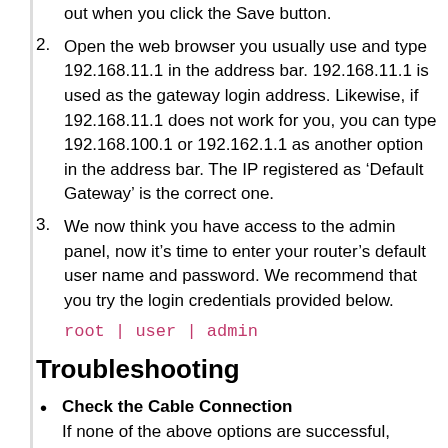out when you click the Save button.
Open the web browser you usually use and type 192.168.11.1 in the address bar. 192.168.11.1 is used as the gateway login address. Likewise, if 192.168.11.1 does not work for you, you can type 192.168.100.1 or 192.162.1.1 as another option in the address bar. The IP registered as ‘Default Gateway’ is the correct one.
We now think you have access to the admin panel, now it’s time to enter your router’s default user name and password. We recommend that you try the login credentials provided below.
root | user | admin
Troubleshooting
Check the Cable Connection
If none of the above options are successful, search for the information you need, ie the user name and password, by typing your router's brand